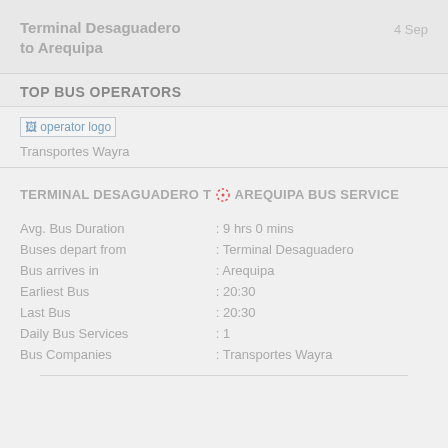Terminal Desaguadero to Arequipa | 4 Sep
TOP BUS OPERATORS
[Figure (logo): Operator logo placeholder image]
Transportes Wayra
TERMINAL DESAGUADERO TO AREQUIPA BUS SERVICE
| Field | Value |
| --- | --- |
| Avg. Bus Duration | : 9 hrs 0 mins |
| Buses depart from | : Terminal Desaguadero |
| Bus arrives in | : Arequipa |
| Earliest Bus | : 20:30 |
| Last Bus | : 20:30 |
| Daily Bus Services | : 1 |
| Bus Companies | : Transportes Wayra |